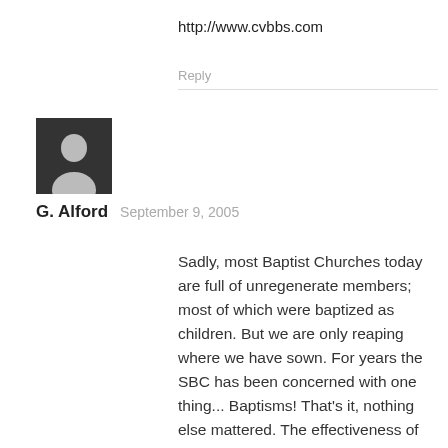http://www.cvbbs.com
Reply
[Figure (illustration): User avatar placeholder icon: dark gray square with a silhouette of a person in light gray]
G. Alford   September 9, 2005
Sadly, most Baptist Churches today are full of unregenerate members; most of which were baptized as children. But we are only reaping where we have sown. For years the SBC has been concerned with one thing... Baptisms! That's it, nothing else mattered. The effectiveness of your ministry and the worth of your church were measured by the number of baptisms (children included) you turned in on your ACP. Pastors even include their baptism numbers on their resume